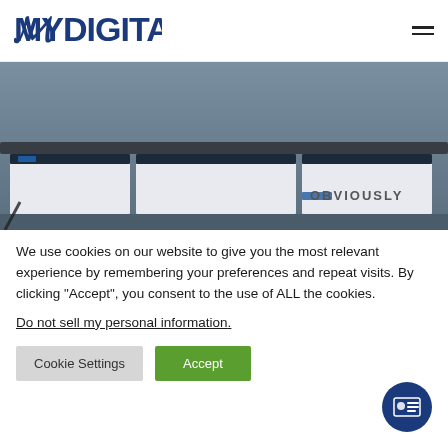[Figure (logo): MYDIGITAL logo in dark blue bold text]
[Figure (photo): Screenshot of digital dashboards/monitors displayed on a curved monitor. The word OBVIOUSLY is visible on screen. Dark teal/blue-gray toned background.]
We use cookies on our website to give you the most relevant experience by remembering your preferences and repeat visits. By clicking “Accept”, you consent to the use of ALL the cookies.
Do not sell my personal information.
Cookie Settings
Accept